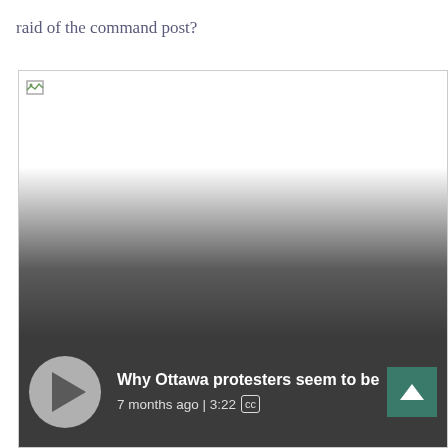raid of the command post?
[Figure (screenshot): A video player screenshot showing a partially loaded/broken image with a gradient overlay at the bottom. Below the image area is a dark video control bar with a play button, video title 'Why Ottawa protesters seem to be a step', timestamp '7 months ago | 3:22', a CC badge, and a teal scroll-up button.]
Why Ottawa protesters seem to be a step
7 months ago | 3:22 CC